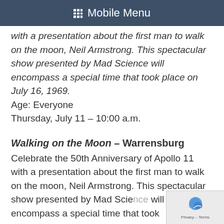Mobile Menu
with a presentation about the first man to walk on the moon, Neil Armstrong. This spectacular show presented by Mad Science will encompass a special time that took place on July 16, 1969.
Age: Everyone
Thursday, July 11 – 10:00 a.m.
Walking on the Moon – Warrensburg
Celebrate the 50th Anniversary of Apollo 11 with a presentation about the first man to walk on the moon, Neil Armstrong. This spectacular show presented by Mad Science will encompass a special time that took